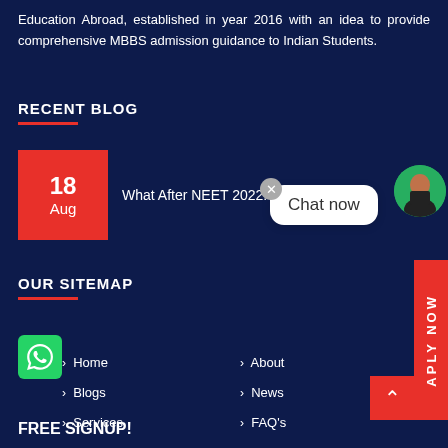Education Abroad, established in year 2016 with an idea to provide comprehensive MBBS admission guidance to Indian Students.
RECENT BLOG
18 Aug — What After NEET 2022: An In-Dept...
OUR SITEMAP
> Home
> About
> Blogs
> News
> Services
> FAQ's
FREE SIGNUP!